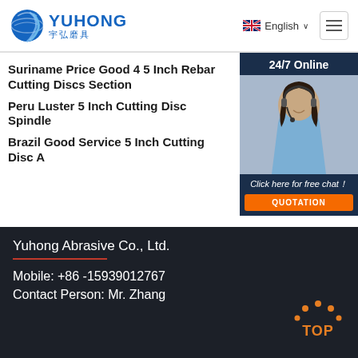[Figure (logo): Yuhong logo with blue wave globe icon and text YUHONG in blue, with Chinese characters 宇弘磨具]
English (language selector with UK flag) | Hamburger menu icon
Suriname Price Good 4 5 Inch Rebar Cutting Discs Section
Peru Luster 5 Inch Cutting Disc Spindle
Brazil Good Service 5 Inch Cutting Disc A
[Figure (photo): Customer service representative woman with headset, smiling]
24/7 Online
Click here for free chat!
QUOTATION
Yuhong Abrasive Co., Ltd.
Mobile: +86 -15939012767
Contact Person: Mr. Zhang
[Figure (logo): TOP button with orange dots arch above text]